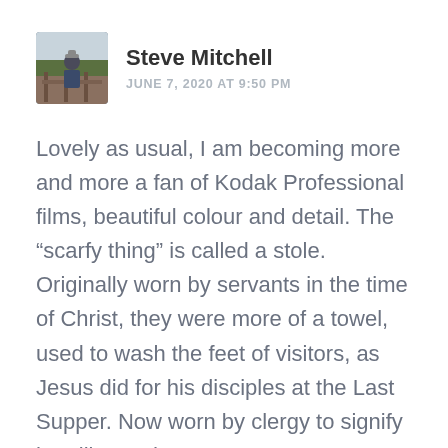[Figure (photo): Small square avatar photo of Steve Mitchell, showing a person outdoors near a fence or railing]
Steve Mitchell
JUNE 7, 2020 AT 9:50 PM
Lovely as usual, I am becoming more and more a fan of Kodak Professional films, beautiful colour and detail. The “scarfy thing” is called a stole. Originally worn by servants in the time of Christ, they were more of a towel, used to wash the feet of visitors, as Jesus did for his disciples at the Last Supper. Now worn by clergy to signify humility, and